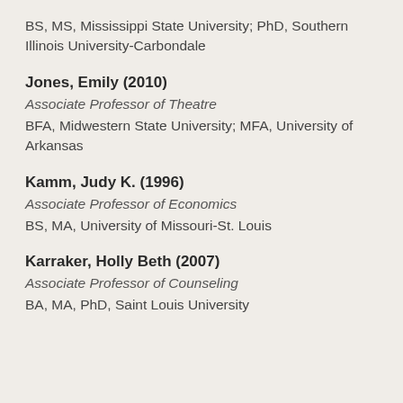BS, MS, Mississippi State University; PhD, Southern Illinois University-Carbondale
Jones, Emily (2010)
Associate Professor of Theatre
BFA, Midwestern State University; MFA, University of Arkansas
Kamm, Judy K. (1996)
Associate Professor of Economics
BS, MA, University of Missouri-St. Louis
Karraker, Holly Beth (2007)
Associate Professor of Counseling
BA, MA, PhD, Saint Louis University